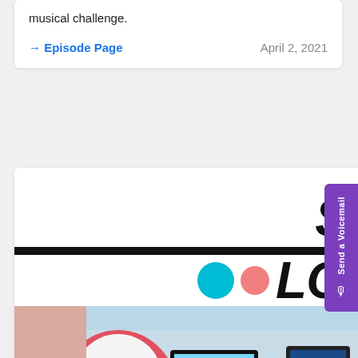musical challenge.
→ Episode Page    April 2, 2021
[Figure (illustration): The Sega Lounge logo with large bold italic text 'THE SEGA LOUNGE', colorful circles (cyan and pink), black divider bar, and a photo of a lounge/gaming setup below with chairs, monitors showing a Sonic game, and retro gaming equipment.]